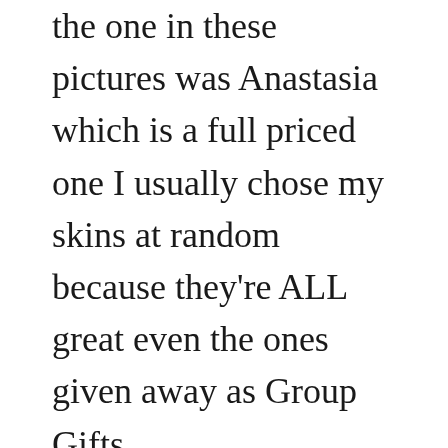the one in these pictures was Anastasia which is a full priced one I usually chose my skins at random because they're ALL great even the ones given away as Group Gifts.
I Just recently I bought a Gacha skin from a shop and it was really nice and came with some Appliers but in the end I thought I can't blog this because for the same amount of money, 100Lds, you can join PumeC and get 4 brilliant sho